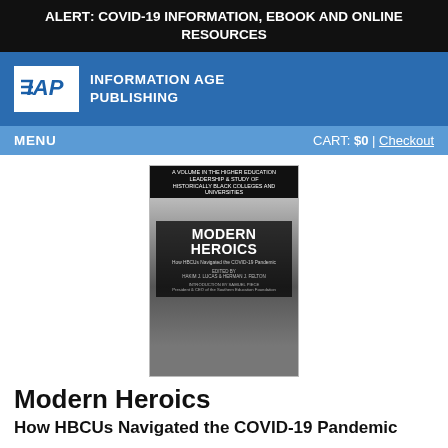ALERT: COVID-19 INFORMATION, EBOOK AND ONLINE RESOURCES
[Figure (logo): IAP - Information Age Publishing logo on blue background]
MENU   CART: $0 | Checkout
[Figure (photo): Book cover of Modern Heroics: How HBCUs Navigated the COVID-19 Pandemic, edited by Hakim J. Lucas and Herman J. Felton]
Modern Heroics
How HBCUs Navigated the COVID-19 Pandemic
Edited by:
Hakim J. Lucas, Virginia Union University
Herman J. Felton, Wiley College
A volume in the series: Higher Education Leadership & Study of